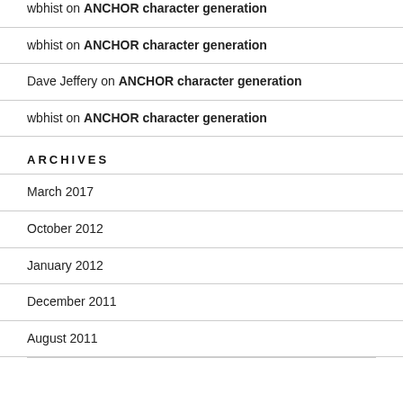wbhist on ANCHOR character generation
Dave Jeffery on ANCHOR character generation
wbhist on ANCHOR character generation
ARCHIVES
March 2017
October 2012
January 2012
December 2011
August 2011